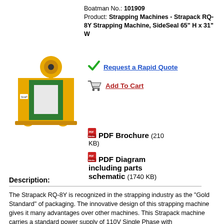Boatman No.: 101909
Product: Strapping Machines - Strapack RQ-8Y Strapping Machine, SideSeal 65" H x 31" W
[Figure (photo): Yellow and green Strapack RQ-8Y strapping machine side view]
Request a Rapid Quote
Add To Cart
PDF Brochure (210 KB)
PDF Diagram including parts schematic (1740 KB)
Description:
The Strapack RQ-8Y is recognized in the strapping industry as the "Gold Standard" of packaging. The innovative design of this strapping machine gives it many advantages over other machines. This Strapack machine carries a standard power supply of 110V Single Phase with